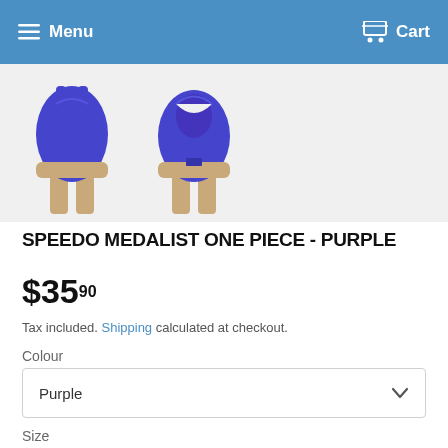Menu  Cart
[Figure (photo): Two views of a purple Speedo Medalist one-piece swimsuit on mannequins — front view and back view]
SPEEDO MEDALIST ONE PIECE - PURPLE
$35.90
Tax included. Shipping calculated at checkout.
Colour
Purple
Size
4